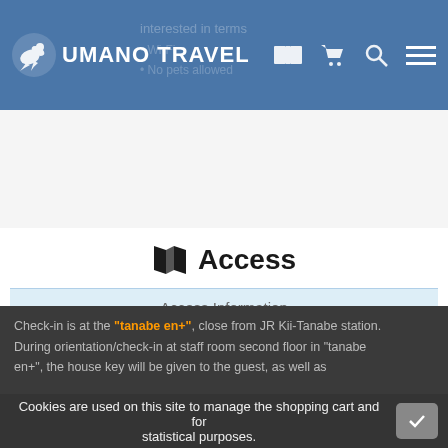UMANO TRAVEL
Access Information
15 min walk from JR Kii-Tanabe station
5 min by taxi from JR Kii-Tanabe station (~700 yen)
More area maps.
CHECK-IN
Check-in is at the "tanabe en+", close from JR Kii-Tanabe station. During orientation/check-in at staff room second floor in "tanabe en+", the house key will be given to the guest, as well as
Cookies are used on this site to manage the shopping cart and for statistical purposes.